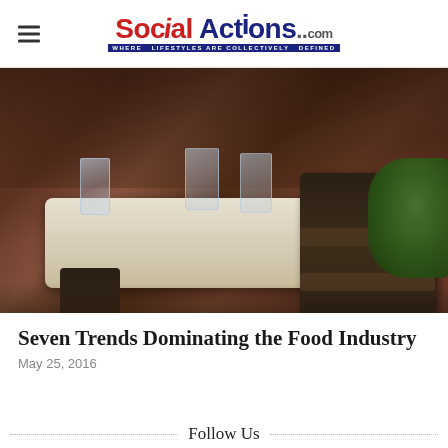Social Actions .com — WHERE LIFESTYLES ARE COLLECTIVELY DEFINED
[Figure (photo): Outdoor cafe/restaurant scene with wooden chairs and a marble-top table, glasses on the table, brick wall in background, green foliage on right side]
Seven Trends Dominating the Food Industry
May 25, 2016
Follow Us